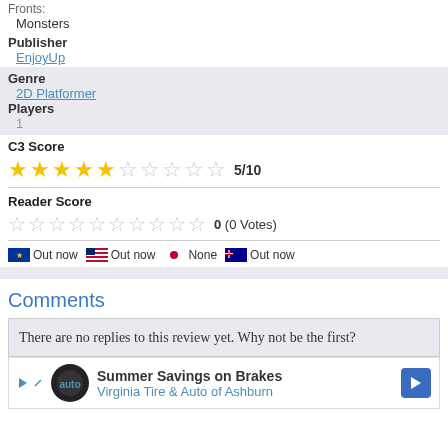Monsters
Publisher
EnjoyUp
Genre
2D Platformer
Players
1
C3 Score
[Figure (other): 5 out of 10 star rating with 5 filled gold stars and 5 empty stars, labeled 5/10]
Reader Score
[Figure (other): 10 empty stars representing reader score of 0 (0 Votes)]
Out now  Out now  None  Out now
Comments
There are no replies to this review yet. Why not be the first?
Summer Savings on Brakes Virginia Tire & Auto of Ashburn